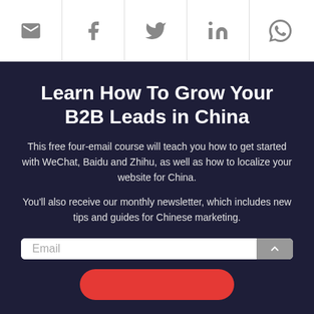[Figure (other): Social share icons bar: email, Facebook, Twitter, LinkedIn, WhatsApp]
Learn How To Grow Your B2B Leads in China
This free four-email course will teach you how to get started with WeChat, Baidu and Zhihu, as well as how to localize your website for China.
You'll also receive our monthly newsletter, which includes new tips and guides for Chinese marketing.
[Figure (other): Email input field with scroll-to-top button]